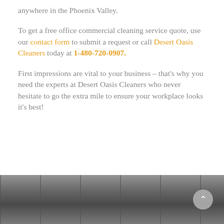anywhere in the Phoenix Valley.
To get a free office commercial cleaning service quote, use our contact form to submit a request or call Desert Oasis Cleaners today at 1-480-720-0907.
First impressions are vital to your business – that's why you need the experts at Desert Oasis Cleaners who never hesitate to go the extra mile to ensure your workplace looks it's best!
COMMERCIAL CLEANERS, COMMERCIAL CLEANING   0
[Figure (photo): Black and white photo of a commercial interior, appearing to show shelving or furniture in a bathroom or office setting]